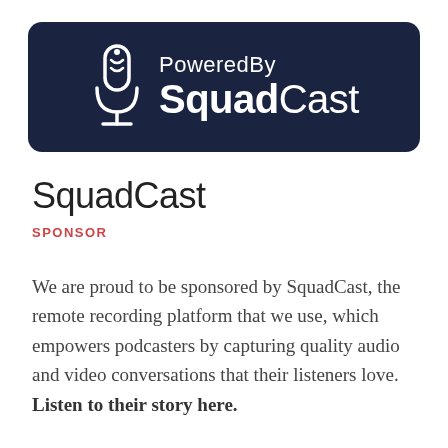[Figure (logo): PoweredBy SquadCast logo banner — dark navy rounded rectangle with a microphone icon on the left and 'PoweredBy SquadCast' text in white on the right]
SquadCast
SPONSOR
We are proud to be sponsored by SquadCast, the remote recording platform that we use, which empowers podcasters by capturing quality audio and video conversations that their listeners love.  Listen to their story here.